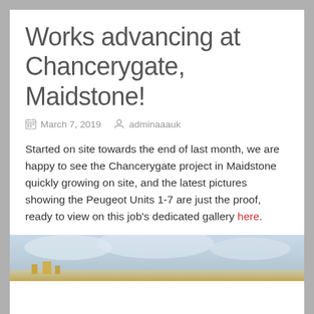Works advancing at Chancerygate, Maidstone!
March 7, 2019   adminaaauk
Started on site towards the end of last month, we are happy to see the Chancerygate project in Maidstone quickly growing on site, and the latest pictures showing the Peugeot Units 1-7 are just the proof, ready to view on this job's dedicated gallery here.
[Figure (photo): Partial view of a construction site photo showing sky and ground level elements]